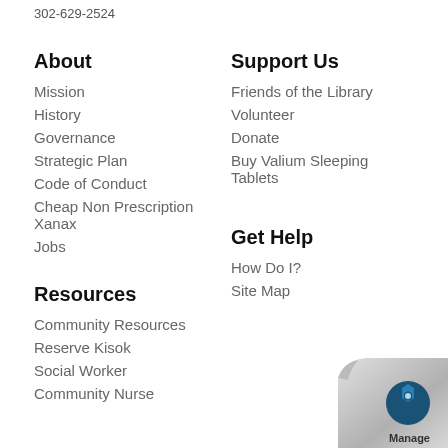302-629-2524
About
Mission
History
Governance
Strategic Plan
Code of Conduct
Cheap Non Prescription Xanax
Jobs
Support Us
Friends of the Library
Volunteer
Donate
Buy Valium Sleeping Tablets
Resources
Community Resources
Reserve Kisok
Social Worker
Community Nurse
Get Help
How Do I?
Site Map
[Figure (logo): Page curl with Manage badge icon in bottom right corner]